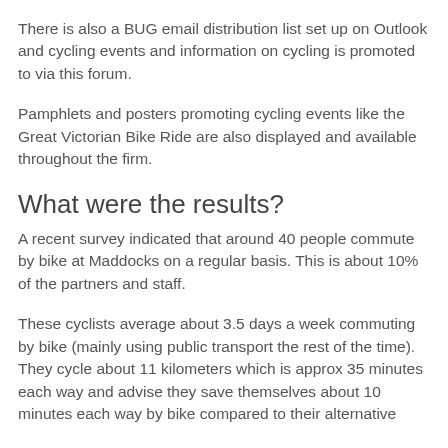There is also a BUG email distribution list set up on Outlook and cycling events and information on cycling is promoted to via this forum.
Pamphlets and posters promoting cycling events like the Great Victorian Bike Ride are also displayed and available throughout the firm.
What were the results?
A recent survey indicated that around 40 people commute by bike at Maddocks on a regular basis. This is about 10% of the partners and staff.
These cyclists average about 3.5 days a week commuting by bike (mainly using public transport the rest of the time). They cycle about 11 kilometers which is approx 35 minutes each way and advise they save themselves about 10 minutes each way by bike compared to their alternative